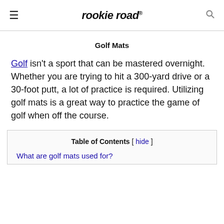rookie road
Golf Mats
Golf isn't a sport that can be mastered overnight. Whether you are trying to hit a 300-yard drive or a 30-foot putt, a lot of practice is required. Utilizing golf mats is a great way to practice the game of golf when off the course.
| Table of Contents [hide] |
| --- |
| What are golf mats used for? |